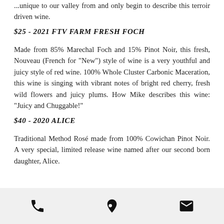...unique to our valley from and only begin to describe this terroir driven wine.
$25 - 2021 FTV FARM FRESH FOCH
Made from 85% Marechal Foch and 15% Pinot Noir, this fresh, Nouveau (French for "New") style of wine is a very youthful and juicy style of red wine. 100% Whole Cluster Carbonic Maceration, this wine is singing with vibrant notes of bright red cherry, fresh wild flowers and juicy plums. How Mike describes this wine: "Juicy and Chuggable!"
$40 - 2020 ALICE
Traditional Method Rosé made from 100% Cowichan Pinot Noir. A very special, limited release wine named after our second born daughter, Alice.
[phone icon] [location icon] [email icon]